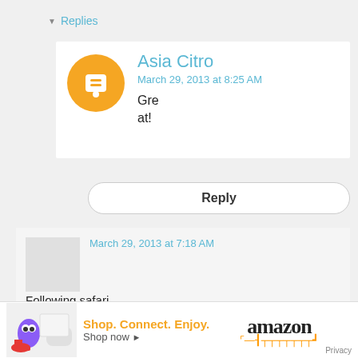▾ Replies
[Figure (logo): Blogger avatar circle - orange circle with white B icon]
Asia Citro
March 29, 2013 at 8:25 AM
Great!
Reply
March 29, 2013 at 7:18 AM
Following safari Italiancookies@aol.com
Reply
[Figure (infographic): Amazon advertisement banner: toys and products image, Shop. Connect. Enjoy. Shop now link, amazon logo with smile, Privacy text]